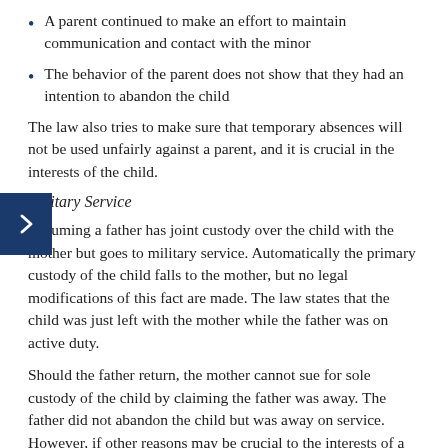A parent continued to make an effort to maintain communication and contact with the minor
The behavior of the parent does not show that they had an intention to abandon the child
The law also tries to make sure that temporary absences will not be used unfairly against a parent, and it is crucial in the interests of the child.
Military Service
Assuming a father has joint custody over the child with the mother but goes to military service. Automatically the primary custody of the child falls to the mother, but no legal modifications of this fact are made. The law states that the child was just left with the mother while the father was on active duty.
Should the father return, the mother cannot sue for sole custody of the child by claiming the father was away. The father did not abandon the child but was away on service. However, if other reasons may be crucial to the interests of a child, the court can then consider them.
Child Preference